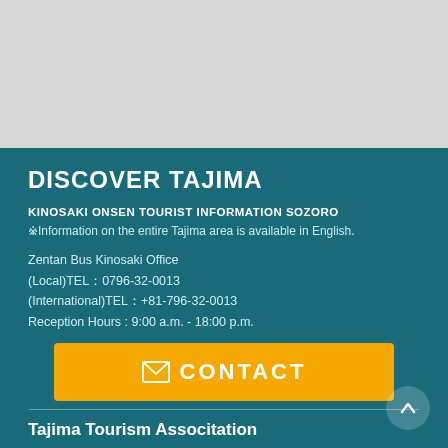DISCOVER TAJIMA
KINOSAKI ONSEN TOURIST INFORMATION SOZORO
※Information on the entire Tajima area is available in English.
Zentan Bus Kinosaki Office
(Local)TEL：0796-32-0013
(International)TEL：+81-796-32-0013
Reception Hours : 9:00 a.m. - 18:00 p.m.
[Figure (other): Orange CONTACT button with envelope icon]
Tajima Tourism Associtation
(Hyogo Prefectural Government
Tajima Disrict Administaration Office
Regional Policy Planning offce,
Industry and Tourism Division)
TEL：0796-26-3686